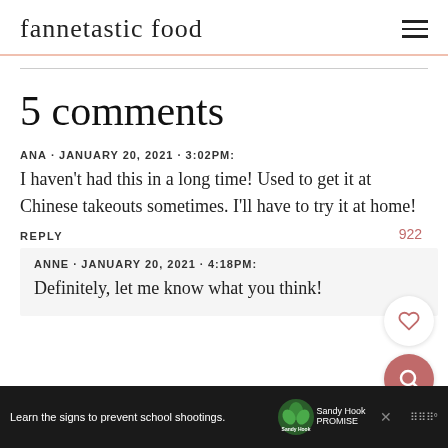fannetastic food
5 comments
ANA · JANUARY 20, 2021 · 3:02PM:
I haven't had this in a long time! Used to get it at Chinese takeouts sometimes. I'll have to try it at home!
REPLY
ANNE · JANUARY 20, 2021 · 4:18PM:
Definitely, let me know what you think!
Learn the signs to prevent school shootings.